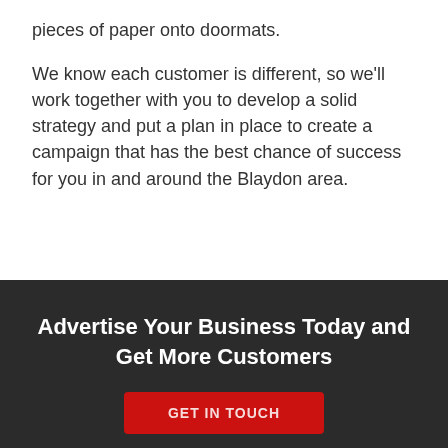pieces of paper onto doormats.
We know each customer is different, so we'll work together with you to develop a solid strategy and put a plan in place to create a campaign that has the best chance of success for you in and around the Blaydon area.
Advertise Your Business Today and Get More Customers
GET IN TOUCH